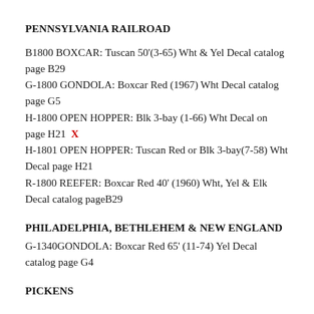PENNSYLVANIA RAILROAD
B1800 BOXCAR: Tuscan 50'(3-65) Wht & Yel Decal catalog page B29
G-1800 GONDOLA: Boxcar Red (1967) Wht Decal catalog page G5
H-1800 OPEN HOPPER: Blk 3-bay (1-66) Wht Decal on page H21  X
H-1801 OPEN HOPPER: Tuscan Red or Blk 3-bay(7-58) Wht Decal page H21
R-1800 REEFER: Boxcar Red 40' (1960) Wht, Yel & Elk Decal catalog pageB29
PHILADELPHIA, BETHLEHEM & NEW ENGLAND
G-1340GONDOLA: Boxcar Red 65' (11-74) Yel Decal catalog page G4
PICKENS